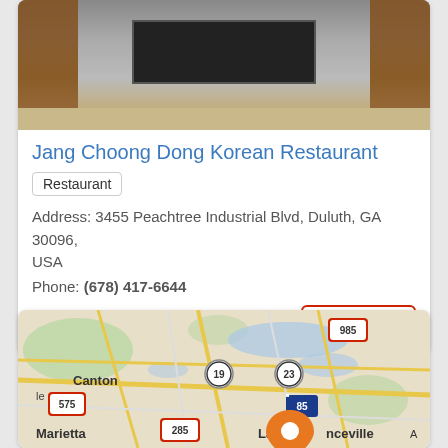[Figure (photo): Exterior photo of Jang Choong Dong Korean Restaurant storefront with brick pillars]
Jang Choong Dong Korean Restaurant
Restaurant
Address: 3455 Peachtree Industrial Blvd, Duluth, GA 30096, USA
Phone: (678) 417-6644
View more
[Figure (map): Google Maps view showing area around Duluth GA with highway markers 985, 19, 23, 85, 575, 285 and cities Canton, Marietta, Lawrenceville visible, with orange location pin]